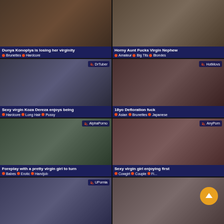[Figure (screenshot): Video thumbnail grid showing adult video listings with titles and category tags]
Dunya Konoplya is losing her virginity
Brunettes  Hardcore
Horny Aunt Fucks Virgin Nephew
Amateur  Big Tits  Blondes
DrTuber
Sexy virgin Koza Dereza enjoys being
Hardcore  Long Hair  Pussy
HotMovs
18yo Defloration fuck
Asian  Brunettes  Japanese
AlphaPorno
Foreplay with a pretty virgin girl to turn
Babes  Erotic  Handjob
AnyPorn
Sexy virgin girl enjoying first
Cowgirl  Couple  Fi...
UPornia